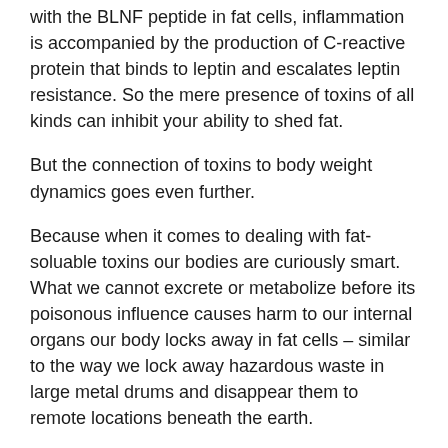with the BLNF peptide in fat cells, inflammation is accompanied by the production of C-reactive protein that binds to leptin and escalates leptin resistance. So the mere presence of toxins of all kinds can inhibit your ability to shed fat.
But the connection of toxins to body weight dynamics goes even further.
Because when it comes to dealing with fat-soluable toxins our bodies are curiously smart. What we cannot excrete or metabolize before its poisonous influence causes harm to our internal organs our body locks away in fat cells – similar to the way we lock away hazardous waste in large metal drums and disappear them to remote locations beneath the earth.
But this short-term survival mechanism comes at a cost. Exposure to food toxins promotes the production of ever-greater stores of body fat. Fat that would first